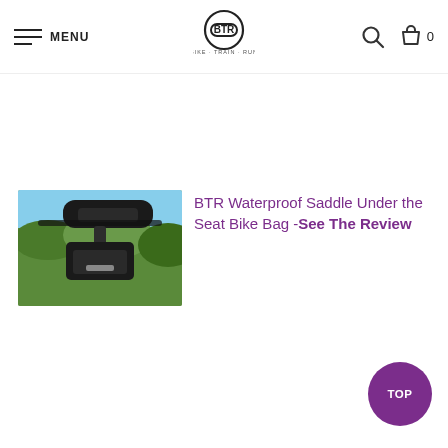MENU | BTR (Bike Train Run) logo | Search | Cart 0
[Figure (photo): Photo of a black waterproof saddle bag mounted under a bicycle seat outdoors with green vegetation in background]
BTR Waterproof Saddle Under the Seat Bike Bag - See The Review